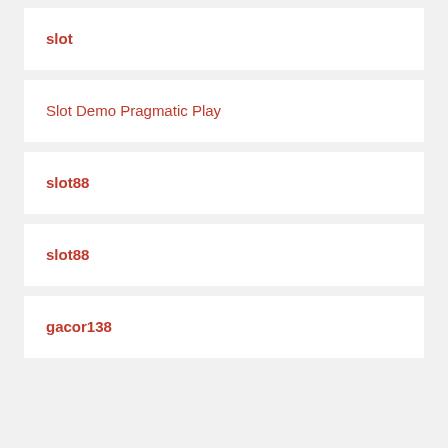slot
Slot Demo Pragmatic Play
slot88
slot88
gacor138